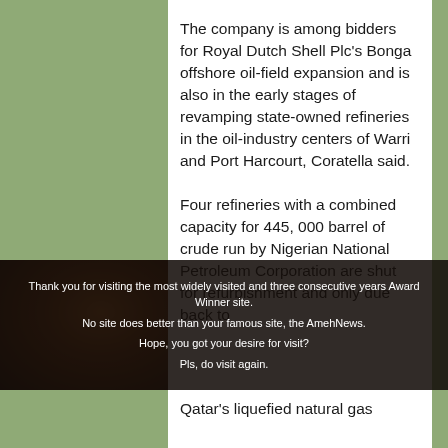The company is among bidders for Royal Dutch Shell Plc's Bonga offshore oil-field expansion and is also in the early stages of revamping state-owned refineries in the oil-industry centers of Warri and Port Harcourt, Coratella said.
Four refineries with a combined capacity for 445, 000 barrel of crude run by Nigerian National Petroleum Corporation are shut for refurbishment and only due back to production in 2003.
[Figure (photo): Dark overlay banner with candle/bokeh photo background and white text message from AmehNews website]
Thank you for visiting the most widely visited and three consecutive years Award Winner site. No site does better than your famous site, the AmehNews. Hope, you got your desire for visit? Pls, do visit again.
Qatar's liquefied natural gas